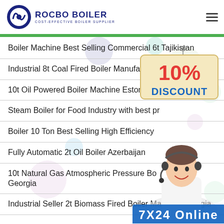ROCBO BOILER - COST-EFFECTIVE BOILER SUPPLIER
Boiler Machine Best Selling Commercial 6t Tajikistan
Industrial 8t Coal Fired Boiler Manufacturers Russia
10t Oil Powered Boiler Machine Estonia
Steam Boiler for Food Industry with best pr...
Boiler 10 Ton Best Selling High Efficiency...
Fully Automatic 2t Oil Boiler Azerbaijan
10t Natural Gas Atmospheric Pressure Bo... Georgia
Industrial Seller 2t Biomass Fired Boiler Machine Georgia
[Figure (illustration): 10% DISCOUNT sign hanging from a hook, with colorful decorative bubbles in background]